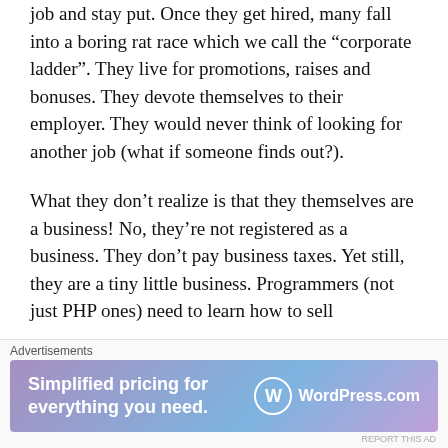job and stay put. Once they get hired, many fall into a boring rat race which we call the “corporate ladder”. They live for promotions, raises and bonuses. They devote themselves to their employer. They would never think of looking for another job (what if someone finds out?).
What they don’t realize is that they themselves are a business! No, they’re not registered as a business. They don’t pay business taxes. Yet still, they are a tiny little business. Programmers (not just PHP ones) need to learn how to sell
Advertisements
[Figure (other): WordPress.com advertisement banner with gradient purple-blue background. Text reads: Simplified pricing for everything you need. WordPress.com logo on right.]